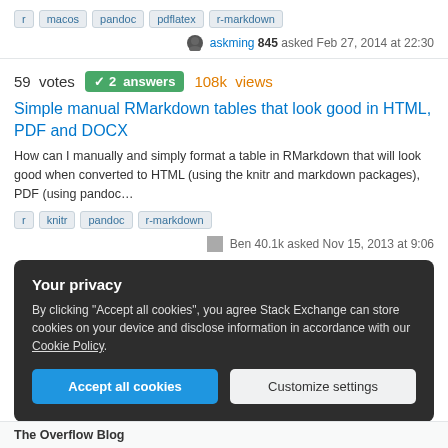r  macos  pandoc  pdflatex  r-markdown
askming 845 asked Feb 27, 2014 at 22:30
59 votes  2 answers  108k views
Simple manual RMarkdown tables that look good in HTML, PDF and DOCX
How can I manually and simply format a table in RMarkdown that will look good when converted to HTML (using the knitr and markdown packages), PDF (using pandoc…
r  knitr  pandoc  r-markdown
Ben 40.1k asked Nov 15, 2013 at 9:06
Your privacy
By clicking "Accept all cookies", you agree Stack Exchange can store cookies on your device and disclose information in accordance with our Cookie Policy.
Accept all cookies  Customize settings
The Overflow Blog